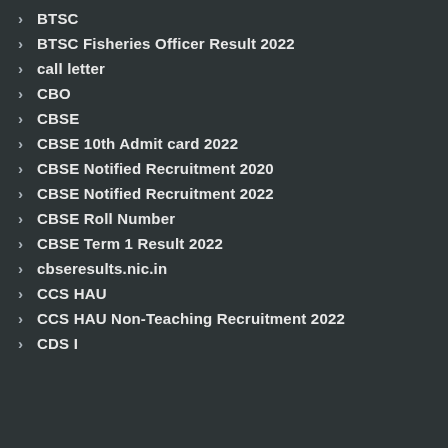BTSC
BTSC Fisheries Officer Result 2022
call letter
CBO
CBSE
CBSE 10th Admit card 2022
CBSE Notified Recruitment 2020
CBSE Notified Recruitment 2022
CBSE Roll Number
CBSE Term 1 Result 2022
cbseresults.nic.in
CCS HAU
CCS HAU Non-Teaching Recruitment 2022
CDS I